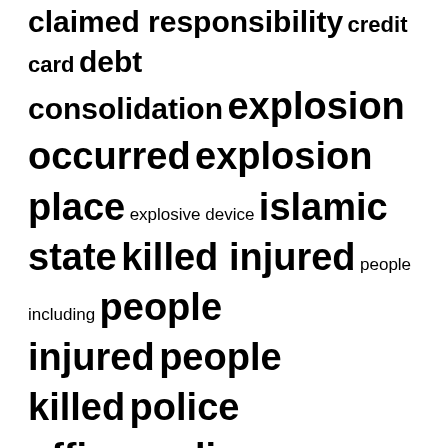[Figure (infographic): Tag cloud with terms of varying sizes related to terrorism and news topics: claimed responsibility, credit card, debt consolidation, explosion occurred, explosion place, explosive device, islamic state, killed injured, people including, people injured, people killed, police officer, police station, responsibility attack, social media, united states]
RECENT POSTS
Time Bomb for Student Loans | Payday Now
Jim Meehan: Spokane's Andrew Von Lossow ready to test his improving game at US Amateur